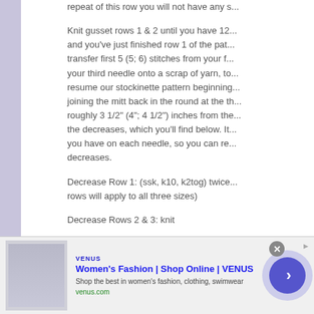repeat of this row you will not have any s...
Knit gusset rows 1 & 2 until you have 12... and you've just finished row 1 of the pat... transfer first 5 (5; 6) stitches from your f... your third needle onto a scrap of yarn, to... resume our stockinette pattern beginning... joining the mitt back in the round at the th... roughly 3 1/2" (4"; 4 1/2") inches from the... the decreases, which you'll find below. It... you have on each needle, so you can re... decreases.
Decrease Row 1: (ssk, k10, k2tog) twice... rows will apply to all three sizes)
Decrease Rows 2 & 3: knit
Decrease Row 4: (ssk, k8, k2tog) twice
[Figure (infographic): Advertisement banner for VENUS women's fashion. Shows a fashion image on the left, text reading 'Women's Fashion | Shop Online | VENUS', subtext 'Shop the best in women's fashion, clothing, swimwear', 'venus.com', a close button (X), and a blue arrow circle button on the right.]